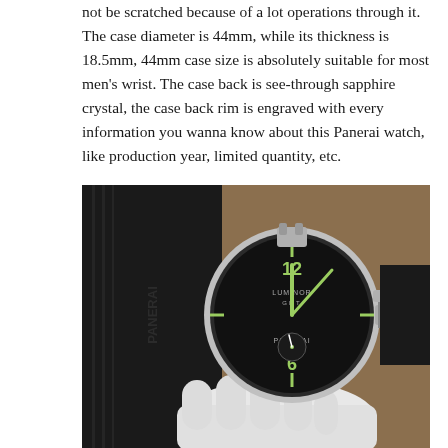not be scratched because of a lot operations through it. The case diameter is 44mm, while its thickness is 18.5mm, 44mm case size is absolutely suitable for most men's wrist. The case back is see-through sapphire crystal, the case back rim is engraved with every information you wanna know about this Panerai watch, like production year, limited quantity, etc.
[Figure (photo): A Panerai watch with black dial and black rubber strap showing 'LUMINOR GMT' text, being held by a white-gloved hand against a brown background. The watch has a large round case with luminous Arabic numerals and a small seconds subdial.]